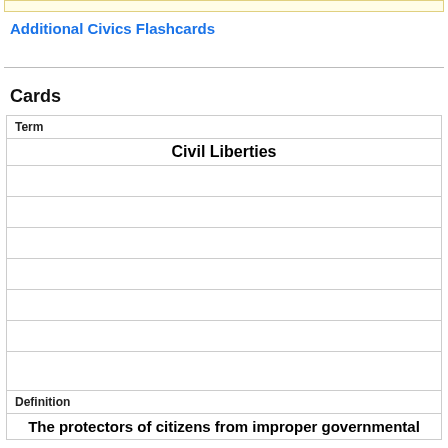Additional Civics Flashcards
Cards
| Term | Definition |
| --- | --- |
| Civil Liberties |  |
|  |  |
|  |  |
|  |  |
|  |  |
|  |  |
|  |  |
| The protectors of citizens from improper governmental |  |